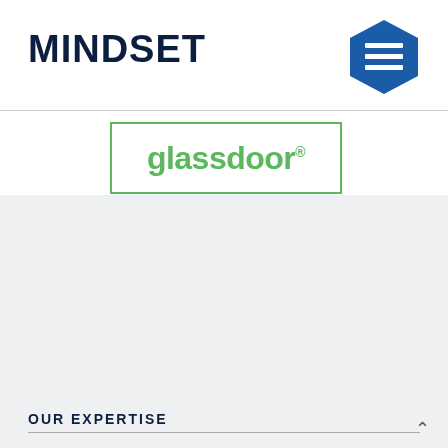MINDSET
[Figure (logo): Hexagon-shaped icon with three horizontal white lines on blue background]
[Figure (logo): Glassdoor logo in green text inside a green-bordered rectangle]
OUR EXPERTISE
SAP TECHNICAL EXPERTISE
Fiori
S/4
BTP
DevOps
ABAP
ENTERPRISE EXPERTISE
Supply Chain
Manufacturing
Sales & Service
Finance